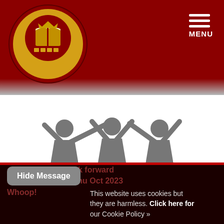Wadebridge Primary Academy — MENU
[Figure (illustration): Three grey silhouette figures of children/people with arms raised, holding hands, set against a white background transitioning from the dark red header.]
Enthusiastic
Hide Message | This website uses cookies but they are harmless. Click here for our Cookie Policy »